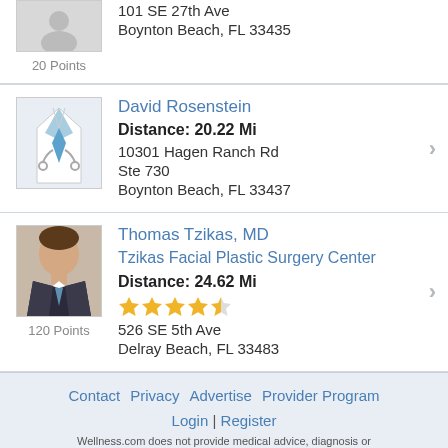101 SE 27th Ave
Boynton Beach, FL 33435
20 Points
David Rosenstein
Distance: 20.22 Mi
10301 Hagen Ranch Rd
Ste 730
Boynton Beach, FL 33437
Thomas Tzikas, MD
Tzikas Facial Plastic Surgery Center
Distance: 24.62 Mi
526 SE 5th Ave
Delray Beach, FL 33483
120 Points
Contact  Privacy  Advertise  Provider Program
Login | Register
Wellness.com does not provide medical advice, diagnosis or